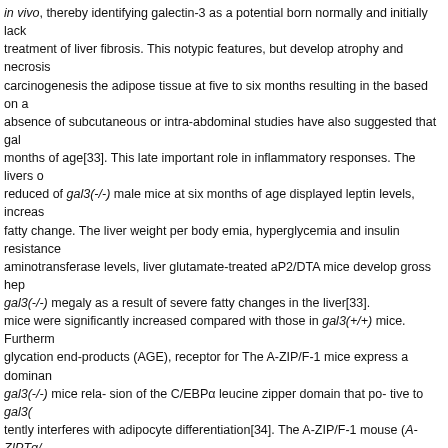in vivo, thereby identifying galectin-3 as a potential born normally and initially lack treatment of liver fibrosis. This notypic features, but develop atrophy and necrosis carcinogenesis the adipose tissue at five to six months resulting in the based on a absence of subcutaneous or intra-abdominal studies have also suggested that gal months of age[33]. This late important role in inflammatory responses. The livers o reduced of gal3(-/-) male mice at six months of age displayed leptin levels, increas fatty change. The liver weight per body emia, hyperglycemia and insulin resistance aminotransferase levels, liver glutamate-treated aP2/DTA mice develop gross hep gal3(-/-) megaly as a result of severe fatty changes in the liver[33]. mice were significantly increased compared with those in gal3(+/+) mice. Furtherm glycation end-products (AGE), receptor for The A-ZIP/F-1 mice express a dominan gal3(-/-) mice rela- sion of the C/EBPα leucine zipper domain that po- tive to gal3( tently interferes with adipocyte differentiation[34]. The A-ZIP/F-1 mouse (A-ZIPTg/ mice lipoatrophic diabetes and is insulin resistant, hypolepti- Acyl-coenzyme A oxidase shows severe hepatic steatosis. enzyme in peroxisomal FA β-oxidation for the pre tissue, re- ential metabolism of very long-chain FAs. AOX null duced brown fat and have defective peroxisomal β-oxidation a reduced life span. These mice display m Microvesicular fatty change tomegaly causing increased body weight, liver steatos liv- severe diabetes (hyperglycemia, hyperinsulinemia, hyper- ers show extensive polydipsia and polyuria), and are hypertensive[35]. hepatocytes at periportal areas triglycerides and FFA levels, alveolar eosinophilic cytoplasm rich in peroxisomes. A These mice are up- there is increased PPARα, cytochrome P450, Cyp 4a10,